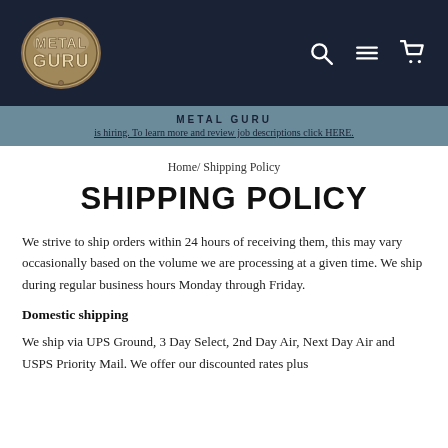METAL GURU — navigation header with logo, search, site navigation, and cart icons
METAL GURU
is hiring. To learn more and review job descriptions click HERE.
Home/ Shipping Policy
SHIPPING POLICY
We strive to ship orders within 24 hours of receiving them, this may vary occasionally based on the volume we are processing at a given time. We ship during regular business hours Monday through Friday.
Domestic shipping
We ship via UPS Ground, 3 Day Select, 2nd Day Air, Next Day Air and USPS Priority Mail. We offer our discounted rates plus